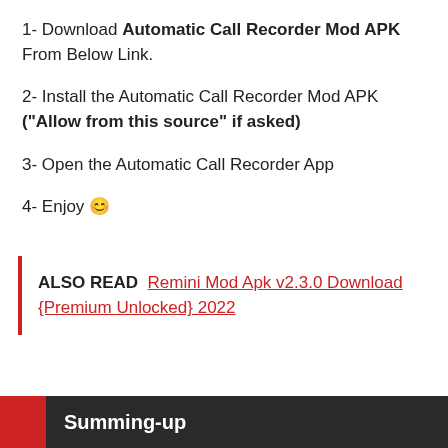1- Download Automatic Call Recorder Mod APK From Below Link.
2- Install the Automatic Call Recorder Mod APK ("Allow from this source" if asked)
3- Open the Automatic Call Recorder App
4- Enjoy 😊
ALSO READ  Remini Mod Apk v2.3.0 Download {Premium Unlocked} 2022
Summing-up